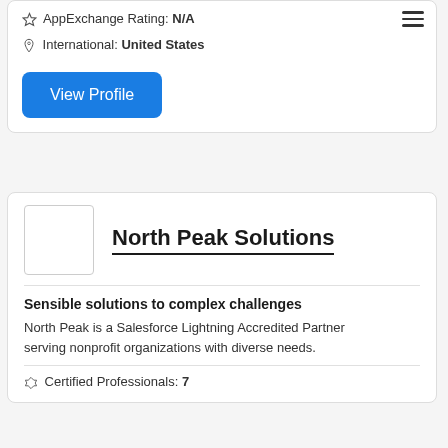AppExchange Rating: N/A
International: United States
View Profile
North Peak Solutions
Sensible solutions to complex challenges
North Peak is a Salesforce Lightning Accredited Partner serving nonprofit organizations with diverse needs.
Certified Professionals: 7